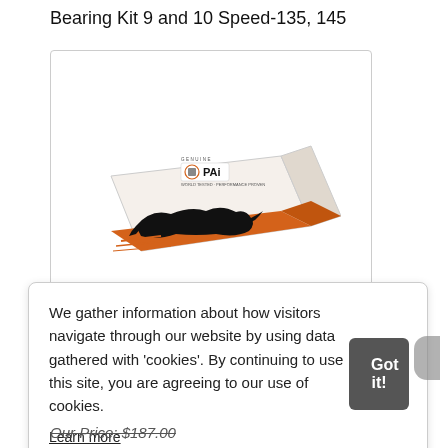Bearing Kit 9 and 10 Speed-135, 145
[Figure (photo): Product box for PAI Genuine parts — white and orange box with a black panther logo and text 'GENUINE PAI WORLD TESTED · PERFORMANCE PROVEN']
We gather information about how visitors navigate through our website by using data gathered with 'cookies'. By continuing to use this site, you are agreeing to our use of cookies.
Learn more
Got it!
Our Price: $187.00